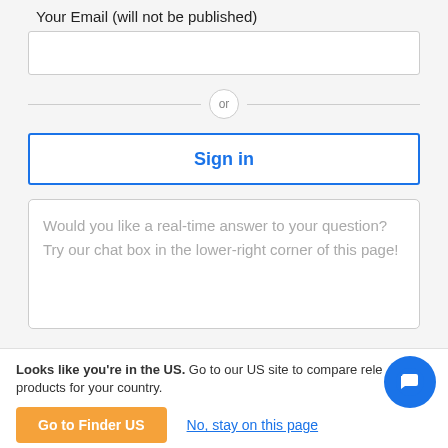Your Email (will not be published)
[Figure (screenshot): Email input text field, empty, white background with light grey border]
or
Sign in
Would you like a real-time answer to your question? Try our chat box in the lower-right corner of this page!
Looks like you're in the US. Go to our US site to compare rele products for your country.
Go to Finder US
No, stay on this page